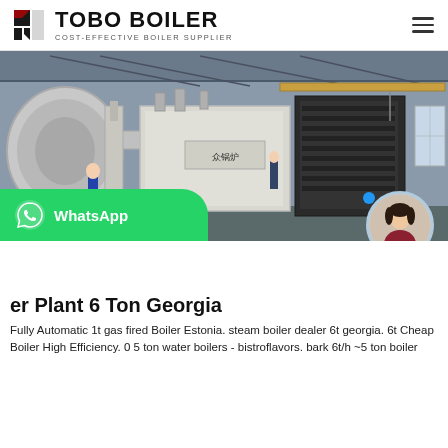TOBO BOILER — COST-EFFECTIVE BOILER SUPPLIER
[Figure (photo): Industrial boiler plant floor showing large silver boiler unit with cylindrical drum on left, rectangular insulated boiler body with Chinese text label in center, black heat exchanger unit on right, industrial crane and steel roof structure above, workers in foreground and background]
Boiler Plant 6 Ton Georgia
Fully Automatic 1t gas fired Boiler Estonia. steam boiler dealer 6t georgia. 6t Cheap Boiler High Efficiency. 0 5 ton water boilers - bistroflavors. bark 6t/h ~5 ton boiler